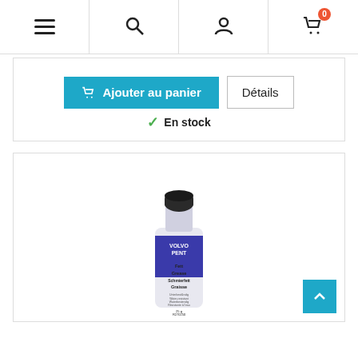Navigation bar with menu, search, user, and cart icons
Ajouter au panier
Détails
En stock
[Figure (photo): A tube of Volvo Penta grease (Fett/Grease/Schmierfett/Graisse), water-resistant, 25g, R270250, with black cap and blue label.]